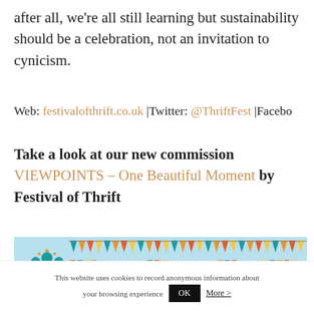after all, we're all still learning but sustainability should be a celebration, not an invitation to cynicism.
Web: festivalofthrift.co.uk |Twitter: @ThriftFest |Facebo
Take a look at our new commission VIEWPOINTS – One Beautiful Moment by Festival of Thrift
[Figure (illustration): Festival of Thrift banner with light blue background, colorful bunting/pennant flags in teal, orange, yellow, and red, and a decorative tree/people logo on the left.]
This website uses cookies to record anonymous information about your browsing experience